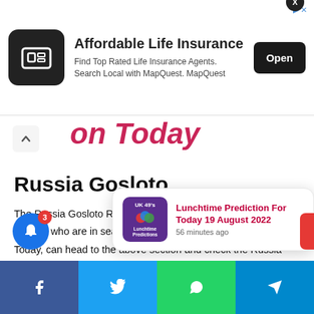[Figure (screenshot): Advertisement banner for Affordable Life Insurance via MapQuest with Open button]
on Today
Russia Gosloto
The Russia Gosloto Results of Russia Gosloto 7/49 is out. Players who are in search of Russia Gosloto 7/49 Results Today, can head to the above section and check the Russia Gosloto 7/49 Results. The Russia 7/49 Results will be out at 18:00, 1:00 (MSK). The Russia Gosloto has various draw numbers, here we have updated the Russia Gosloto 7/49 Results. Stay con... Gosloto 7/49 Res...
[Figure (screenshot): Notification popup: Lunchtime Prediction For Today 19 August 2022 - 56 minutes ago]